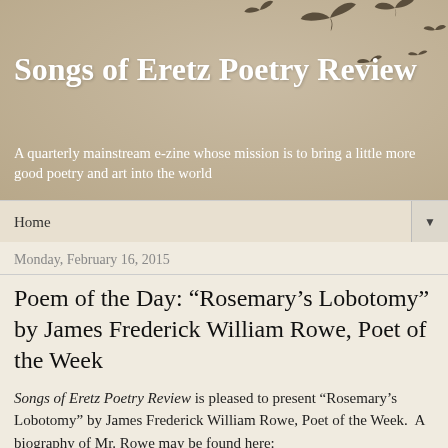[Figure (illustration): Tan/beige banner with silhouettes of flying birds in dark brown/grey scattered across the upper right area]
Songs of Eretz Poetry Review
A quarterly mainstream e-zine whose mission is to bring a little more good poetry and art into the world
Home ▼
Monday, February 16, 2015
Poem of the Day: “Rosemary’s Lobotomy” by James Frederick William Rowe, Poet of the Week
Songs of Eretz Poetry Review is pleased to present “Rosemary’s Lobotomy” by James Frederick William Rowe, Poet of the Week.  A biography of Mr. Rowe may be found here:
http://songsofEretz.blogspot.com/2015/02/...